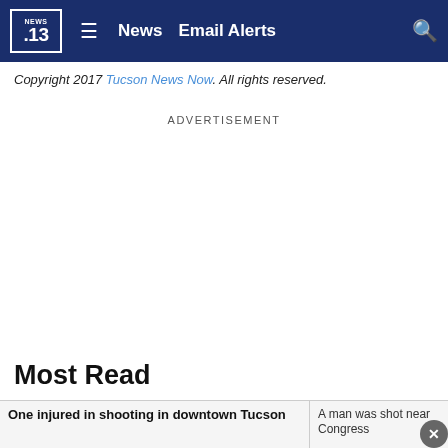NEWS 13 | News | Email Alerts
Copyright 2017 Tucson News Now. All rights reserved.
ADVERTISEMENT
Most Read
One injured in shooting in downtown Tucson
A man was shot near Congress